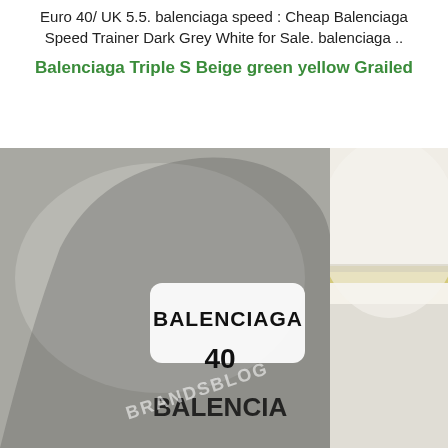Euro 40/ UK 5.5. balenciaga speed : Cheap Balenciaga Speed Trainer Dark Grey White for Sale. balenciaga ..
Balenciaga Triple S Beige green yellow Grailed
[Figure (photo): Close-up photo of a Balenciaga shoe sole/insole with a white label showing 'BALENCIAGA' and '40', with a watermark 'BRANDSBLOG' overlaid diagonally. Left image shows grey textured sole interior. Right image shows white/cream layered sole edge with yellow stripe.]